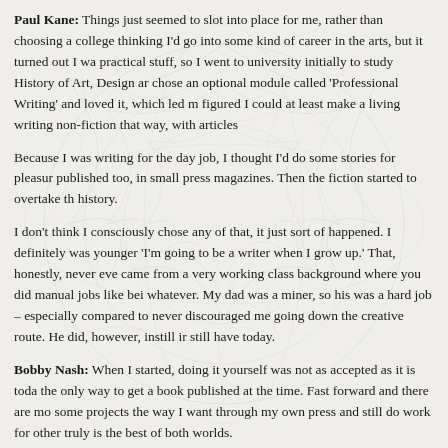Paul Kane: Things just seemed to slot into place for me, rather than choosing a college thinking I'd go into some kind of career in the arts, but it turned out I was practical stuff, so I went to university initially to study History of Art, Design ar chose an optional module called 'Professional Writing' and loved it, which led m figured I could at least make a living writing non-fiction that way, with articles
Because I was writing for the day job, I thought I'd do some stories for pleasure published too, in small press magazines. Then the fiction started to overtake th history.
I don't think I consciously chose any of that, it just sort of happened. I definitely was younger 'I'm going to be a writer when I grow up.' That, honestly, never eve came from a very working class background where you did manual jobs like bei whatever. My dad was a miner, so his was a hard job – especially compared to never discouraged me going down the creative route. He did, however, instill ir still have today.
Bobby Nash: When I started, doing it yourself was not as accepted as it is toda the only way to get a book published at the time. Fast forward and there are mo some projects the way I want through my own press and still do work for other truly is the best of both worlds.